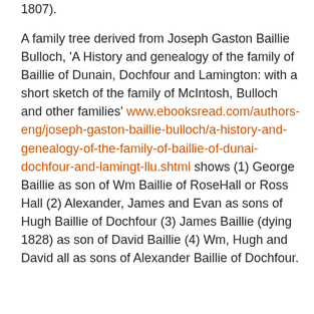1807).
A family tree derived from Joseph Gaston Baillie Bulloch, 'A History and genealogy of the family of Baillie of Dunain, Dochfour and Lamington: with a short sketch of the family of McIntosh, Bulloch and other families' www.ebooksread.com/authors-eng/joseph-gaston-baillie-bulloch/a-history-and-genealogy-of-the-family-of-baillie-of-dunai-dochfour-and-lamingt-llu.shtml shows (1) George Baillie as son of Wm Baillie of RoseHall or Ross Hall (2) Alexander, James and Evan as sons of Hugh Baillie of Dochfour (3) James Baillie (dying 1828) as son of David Baillie (4) Wm, Hugh and David all as sons of Alexander Baillie of Dochfour.